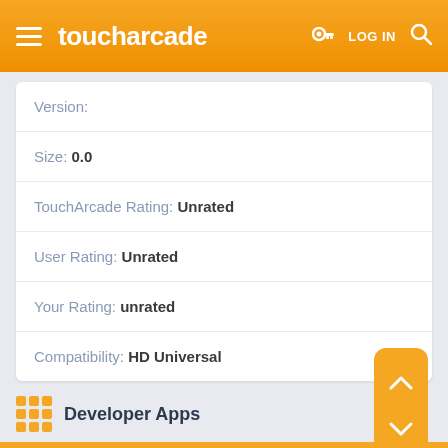toucharcade — LOG IN
| Field | Value |
| --- | --- |
| Version: |  |
| Size: | 0.0 |
| TouchArcade Rating: | Unrated |
| User Rating: | Unrated |
| Your Rating: | unrated |
| Compatibility: | HD Universal |
Developer Apps